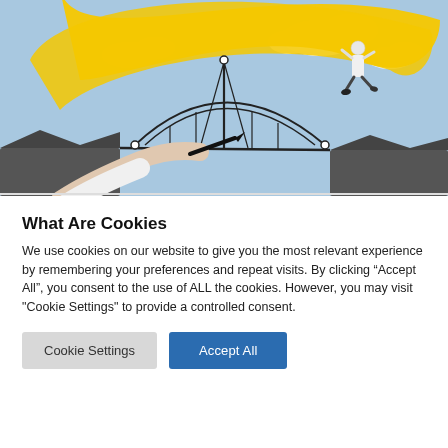[Figure (illustration): A composite illustration showing a hand drawing a suspension bridge with a black marker pen. A person in business attire is leaping across a gap between two rocky cliffs. A large yellow arrow/arc shape and blue sky with clouds form the background.]
What Are Cookies
We use cookies on our website to give you the most relevant experience by remembering your preferences and repeat visits. By clicking “Accept All”, you consent to the use of ALL the cookies. However, you may visit "Cookie Settings" to provide a controlled consent.